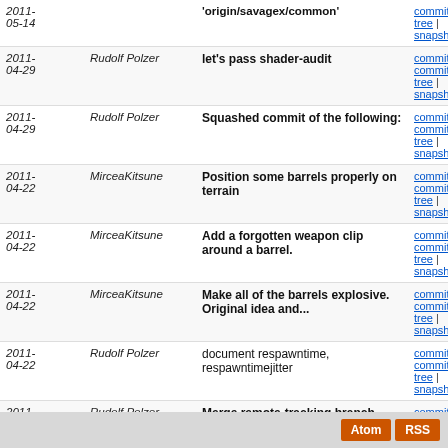| Date | Author | Message | Links |
| --- | --- | --- | --- |
| 2011-05-14 |  | 'origin/savagex/common' | commitdiff | tree | snapshot |
| 2011-04-29 | Rudolf Polzer | let's pass shader-audit | commit | commitdiff | tree | snapshot |
| 2011-04-29 | Rudolf Polzer | Squashed commit of the following: | commit | commitdiff | tree | snapshot |
| 2011-04-22 | MirceaKitsune | Position some barrels properly on terrain | commit | commitdiff | tree | snapshot |
| 2011-04-22 | MirceaKitsune | Add a forgotten weapon clip around a barrel. | commit | commitdiff | tree | snapshot |
| 2011-04-22 | MirceaKitsune | Make all of the barrels explosive. Original idea and... | commit | commitdiff | tree | snapshot |
| 2011-04-22 | Rudolf Polzer | document respawntime, respawntimejitter | commit | commitdiff | tree | snapshot |
| 2011-04-22 | Rudolf Polzer | Merge remote-tracking branch 'origin/morphed/crate02' | commit | commitdiff | tree | snapshot |
| 2011-04-22 | Rudolf Polzer | update entities.ent file | commit | commitdiff | tree | snapshot |
next
Atom  RSS